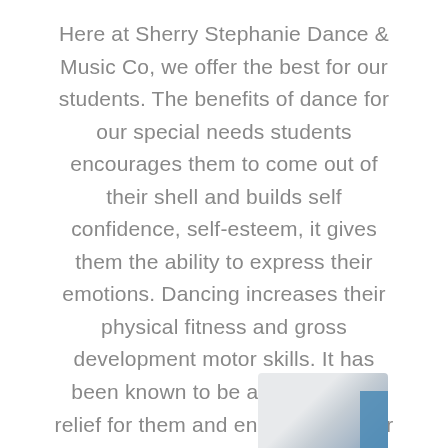Here at Sherry Stephanie Dance & Music Co, we offer the best for our students. The benefits of dance for our special needs students encourages them to come out of their shell and builds self confidence, self-esteem, it gives them the ability to express their emotions. Dancing increases their physical fitness and gross development motor skills. It has been known to be a great stress relief for them and encourages their creativity and imagination.
[Figure (photo): Partial photo visible at bottom right of page, appears to show a light-colored interior scene with a blue vertical stripe element.]